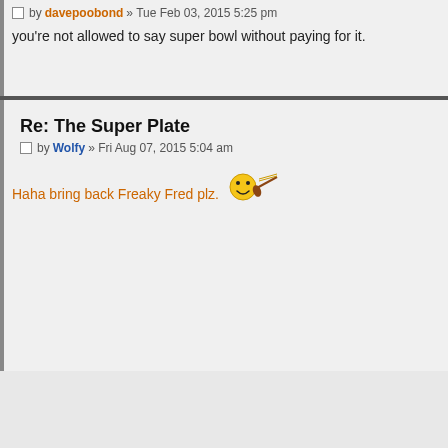by davepoobond » Tue Feb 03, 2015 5:25 pm
you're not allowed to say super bowl without paying for it.
Re: The Super Plate
by Wolfy » Fri Aug 07, 2015 5:04 am
Haha bring back Freaky Fred plz.